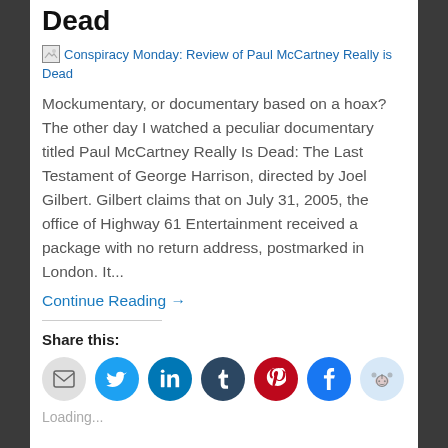Dead
[Figure (screenshot): Broken image placeholder with alt text: Conspiracy Monday: Review of Paul McCartney Really is Dead]
Mockumentary, or documentary based on a hoax? The other day I watched a peculiar documentary titled Paul McCartney Really Is Dead: The Last Testament of George Harrison, directed by Joel Gilbert. Gilbert claims that on July 31, 2005, the office of Highway 61 Entertainment received a package with no return address, postmarked in London. It...
Continue Reading →
Share this:
[Figure (infographic): Social share icons: email, Twitter, LinkedIn, Tumblr, Pinterest, Facebook, Reddit]
Loading...